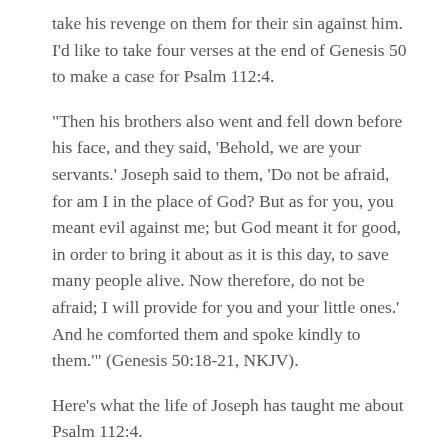take his revenge on them for their sin against him. I'd like to take four verses at the end of Genesis 50 to make a case for Psalm 112:4.
“Then his brothers also went and fell down before his face, and they said, ‘Behold, we are your servants.’ Joseph said to them, ‘Do not be afraid, for am I in the place of God? But as for you, you meant evil against me; but God meant it for good, in order to bring it about as it is this day, to save many people alive. Now therefore, do not be afraid; I will provide for you and your little ones.’ And he comforted them and spoke kindly to them.” (Genesis 50:18-21, NKJV).
Here’s what the life of Joseph has taught me about Psalm 112:4.
1) “Am I in place of God?” By begging for Joseph’s